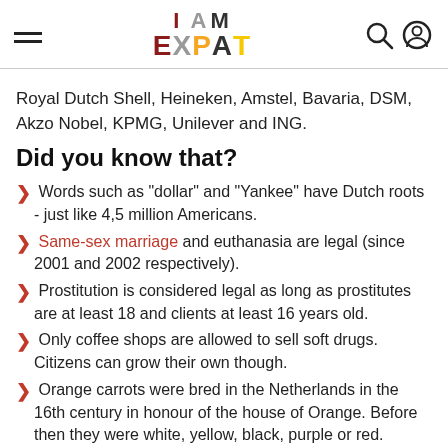I AM EXPAT
Royal Dutch Shell, Heineken, Amstel, Bavaria, DSM, Akzo Nobel, KPMG, Unilever and ING.
Did you know that?
Words such as "dollar" and "Yankee" have Dutch roots - just like 4,5 million Americans.
Same-sex marriage and euthanasia are legal (since 2001 and 2002 respectively).
Prostitution is considered legal as long as prostitutes are at least 18 and clients at least 16 years old.
Only coffee shops are allowed to sell soft drugs. Citizens can grow their own though.
Orange carrots were bred in the Netherlands in the 16th century in honour of the house of Orange. Before then they were white, yellow, black, purple or red.